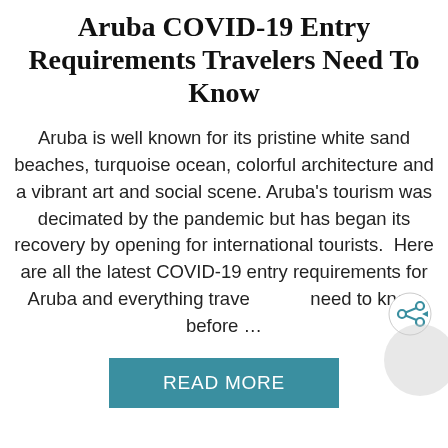Aruba COVID-19 Entry Requirements Travelers Need To Know
Aruba is well known for its pristine white sand beaches, turquoise ocean, colorful architecture and a vibrant art and social scene. Aruba's tourism was decimated by the pandemic but has began its recovery by opening for international tourists. Here are all the latest COVID-19 entry requirements for Aruba and everything travelers need to know before …
READ MORE